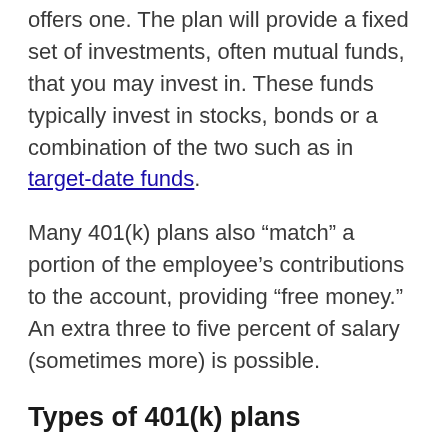offers one. The plan will provide a fixed set of investments, often mutual funds, that you may invest in. These funds typically invest in stocks, bonds or a combination of the two such as in target-date funds.
Many 401(k) plans also “match” a portion of the employee’s contributions to the account, providing “free money.”  An extra three to five percent of salary (sometimes more) is possible.
Types of 401(k) plans
There are two major kinds of employer-sponsored 401(k) plans, and the key difference is the kind of tax advantage they offer: